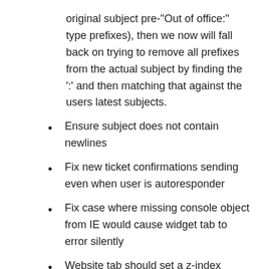original subject pre-"Out of office:" type prefixes), then we now will fall back on trying to remove all prefixes from the actual subject by finding the ':' and then matching that against the users latest subjects.
Ensure subject does not contain newlines
Fix new ticket confirmations sending even when user is autoresponder
Fix case where missing console object from IE would cause widget tab to error silently
Website tab should set a z-index
Fix a plain-text cut pattern not matching
Fix a few cases where an email address should result in a usersource lookup but did not
Fix possible bug where utf8_* calls from low (get_messages et all) might fail. Move the